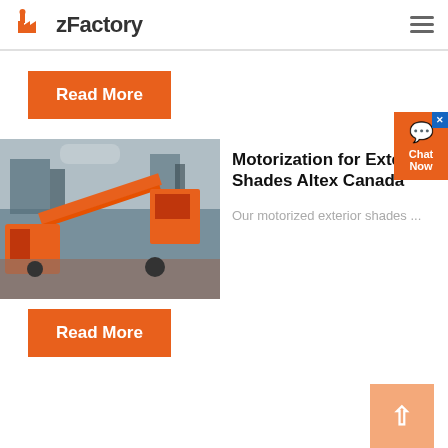zFactory
Read More
[Figure (photo): Industrial mining/crushing equipment with conveyor belts and machinery at an outdoor site]
Motorization for Exterior Shades Altex Canada
Our motorized exterior shades ...
Read More